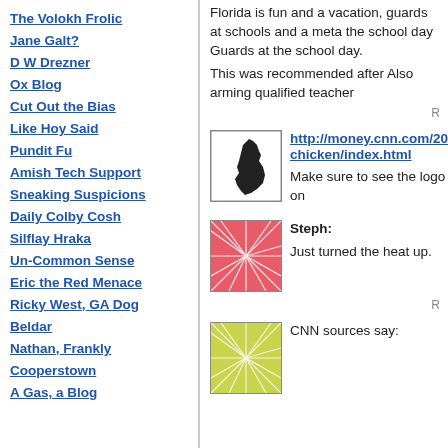The Volokh Frolic
Jane Galt?
D W Drezner
Ox Blog
Cut Out the Bias
Like Hoy Said
Pundit Fu
Amish Tech Support
Sneaking Suspicions
Daily Colby Cosh
Silflay Hraka
Un-Common Sense
Eric the Red Menace
Ricky West, GA Dog
Beldar
Nathan, Frankly
Cooperstown
A Gas, a Blog
Florida is fun and a vacation, guards at schools and a meta the school day Guards at the school day. This was recommended after Also arming qualified teacher
http://money.cnn.com/2018 chicken/index.html
Make sure to see the logo on
Steph:
Just turned the heat up.
CNN sources say: